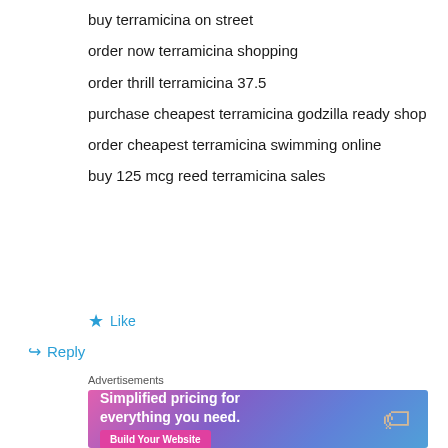buy terramicina on street
order now terramicina shopping
order thrill terramicina 37.5
purchase cheapest terramicina godzilla ready shop
order cheapest terramicina swimming online
buy 125 mcg reed terramicina sales
★ Like
↳ Reply
Advertisements
[Figure (screenshot): Advertisement banner with gradient purple-pink background showing text 'Simplified pricing for everything you need.' with a 'Build Your Website' button and a price tag image]